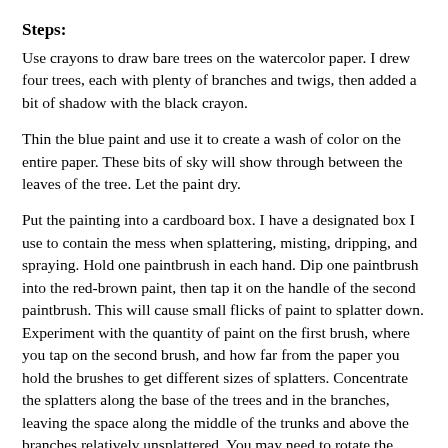Steps:
Use crayons to draw bare trees on the watercolor paper. I drew four trees, each with plenty of branches and twigs, then added a bit of shadow with the black crayon.
Thin the blue paint and use it to create a wash of color on the entire paper. These bits of sky will show through between the leaves of the tree. Let the paint dry.
Put the painting into a cardboard box. I have a designated box I use to contain the mess when splattering, misting, dripping, and spraying. Hold one paintbrush in each hand. Dip one paintbrush into the red-brown paint, then tap it on the handle of the second paintbrush. This will cause small flicks of paint to splatter down. Experiment with the quantity of paint on the first brush, where you tap on the second brush, and how far from the paper you hold the brushes to get different sizes of splatters. Concentrate the splatters along the base of the trees and in the branches, leaving the space along the middle of the trunks and above the branches relatively unsplattered. You may need to rotate the paper to accomplish this.